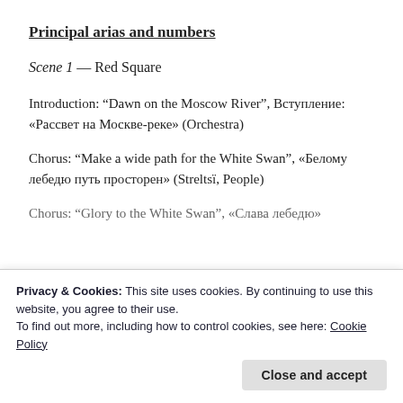Principal arias and numbers
Scene 1 — Red Square
Introduction: “Dawn on the Moscow River”, Вступление: «Рассвет на Москве-реке» (Orchestra)
Chorus: “Make a wide path for the White Swan”, «Белому лебедю путь просторен» (Streltsï, People)
Chorus: “Glory to the White Swan”, «Слава лебедю»
Privacy & Cookies: This site uses cookies. By continuing to use this website, you agree to their use.
To find out more, including how to control cookies, see here: Cookie Policy
Close and accept